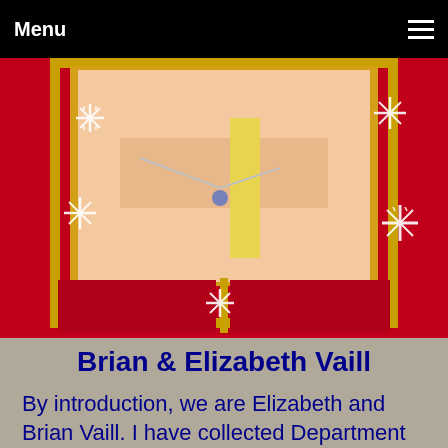Menu
[Figure (photo): Christmas card style photo with red background, gold border, snowflake decorations, and a partial photo of a person wearing a necklace in the upper center portion.]
Brian & Elizabeth Vaill
By introduction, we are Elizabeth and Brian Vaill. I have collected Department 56 Villages since 1984, and Elizabeth joined in after we were